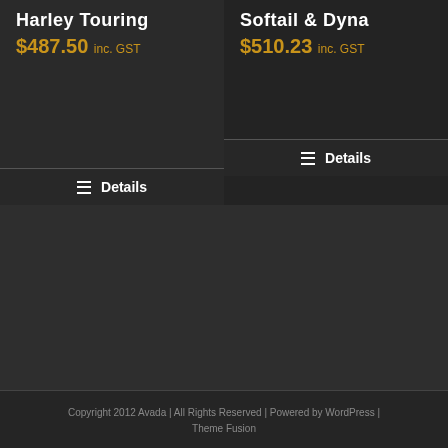Harley Touring
$487.50 inc. GST
Details
Softail & Dyna
$510.23 inc. GST
Details
Copyright 2012 Avada | All Rights Reserved | Powered by WordPress | Theme Fusion